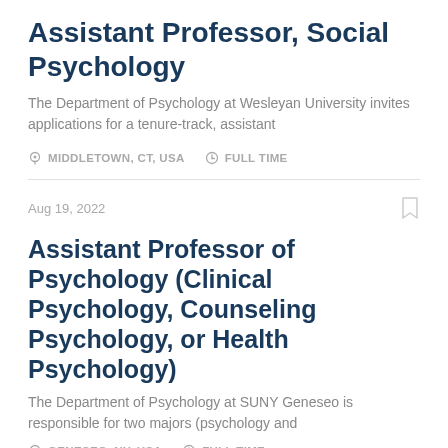Assistant Professor, Social Psychology
The Department of Psychology at Wesleyan University invites applications for a tenure-track, assistant
MIDDLETOWN, CT, USA   FULL TIME
Aug 19, 2022
Assistant Professor of Psychology (Clinical Psychology, Counseling Psychology, or Health Psychology)
The Department of Psychology at SUNY Geneseo is responsible for two majors (psychology and
GENESEO, NY, USA   FULL TIME